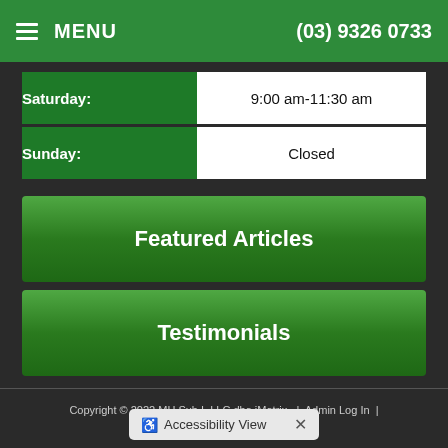MENU  (03) 9326 0733
| Day | Hours |
| --- | --- |
| Saturday: | 9:00 am-11:30 am |
| Sunday: | Closed |
Featured Articles
Testimonials
Copyright © 2022 MH Sub I, LLC dba iMatrix.  |  Admin Log In  |  Site Map
Accessibility View